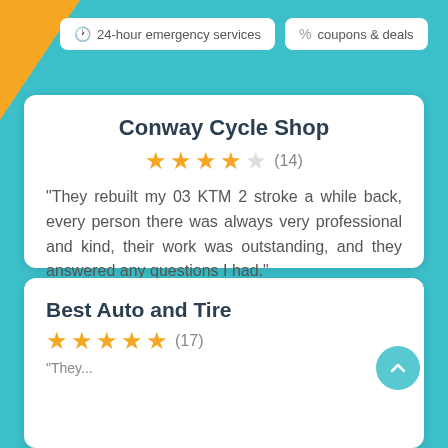24-hour emergency services
coupons & deals
Conway Cycle Shop
★★★★☆ (14)
“They rebuilt my 03 KTM 2 stroke a while back, every person there was always very professional and kind, their work was outstanding, and they answered any questions I had.”
In Business Since 2016
Get Quote
Best Auto and Tire
★★★★★ (17)
“They...